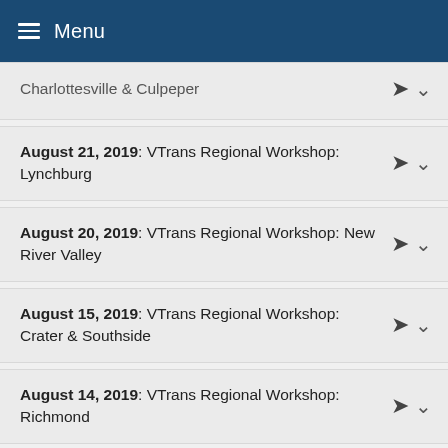Menu
Charlottesville & Culpeper
August 21, 2019: VTrans Regional Workshop: Lynchburg
August 20, 2019: VTrans Regional Workshop: New River Valley
August 15, 2019: VTrans Regional Workshop: Crater & Southside
August 14, 2019: VTrans Regional Workshop: Richmond
August 13, 2019: VTrans Regional Workshop: Hampton Roads
August 8, 2019: VTrans Regional Workshop: